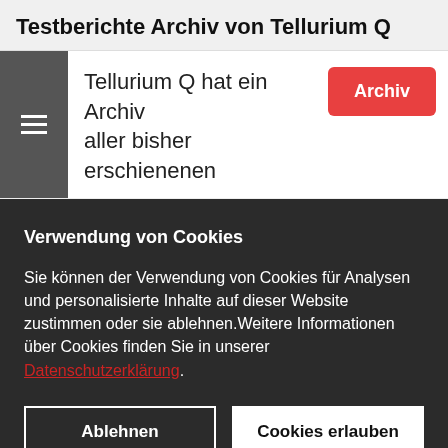Testberichte Archiv von Tellurium Q
Tellurium Q hat ein Archiv aller bisher erschienenen
Verwendung von Cookies
Sie können der Verwendung von Cookies für Analysen und personalisierte Inhalte auf dieser Website zustimmen oder sie ablehnen.Weitere Informationen über Cookies finden Sie in unserer Datenschutzerklärung.
Ablehnen
Cookies erlauben